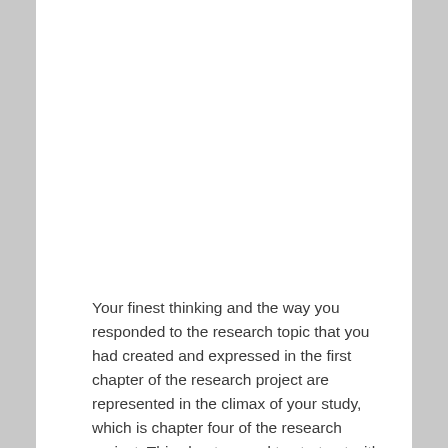Your finest thinking and the way you responded to the research topic that you had created and expressed in the first chapter of the research project are represented in the climax of your study, which is chapter four of the research project. This chapter need to start out with two or three opening paragraphs if you are a competent